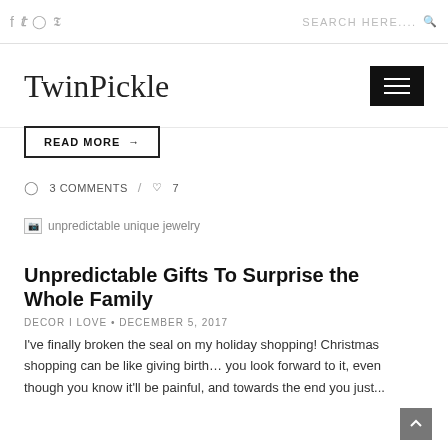f  twitter  instagram  pinterest   SEARCH HERE....
TwinPickle
READ MORE →
3 COMMENTS / 7
[Figure (photo): unpredictable unique jewelry - broken image placeholder]
Unpredictable Gifts To Surprise the Whole Family
DECOR I LOVE • DECEMBER 5, 2017
I've finally broken the seal on my holiday shopping! Christmas shopping can be like giving birth… you look forward to it, even though you know it'll be painful, and towards the end you just...